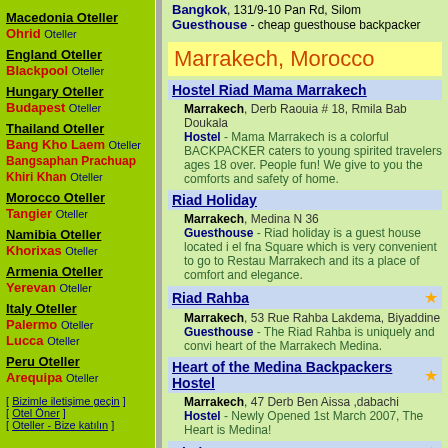Macedonia Oteller - Ohrid Oteller
England Oteller - Blackpool Oteller
Hungary Oteller - Budapest Oteller
Thailand Oteller - Bang Kho Laem Oteller, Bangsaphan Prachuap Khiri Khan Oteller
Morocco Oteller - Tangier Oteller
Namibia Oteller - Khorixas Oteller
Armenia Oteller - Yerevan Oteller
Italy Oteller - Palermo Oteller, Lucca Oteller
Peru Oteller - Arequipa Oteller
[ Bizimle iletişime geçin ] [ Otel Öner ] [ Oteller - Bize katılın ]
Bangkok, 131/9-10 Pan Rd, Silom
Guesthouse - cheap guesthouse backpacker
Marrakech, Morocco
Hostel Riad Mama Marrakech
Marrakech, Derb Raouia # 18, Rmila Bab Doukala
Hostel - Mama Marrakech is a colorful BACKPACKER caters to young spirited travelers ages 18 over. People fun! We give to you the comforts and safety of home.
Riad Holiday
Marrakech, Medina N 36
Guesthouse - Riad holiday is a guest house located i el fna Square which is very convenient to go to Restau Marrakech and its a place of comfort and elegance.
Riad Rahba
Marrakech, 53 Rue Rahba Lakdema, Biyaddine
Guesthouse - The Riad Rahba is uniquely and convi heart of the Marrakech Medina.
Heart of the Medina Backpackers Hostel
Marrakech, 47 Derb Ben Aissa ,dabachi
Hostel - Newly Opened 1st March 2007, The Heart is Medina!
Riad Iaazane